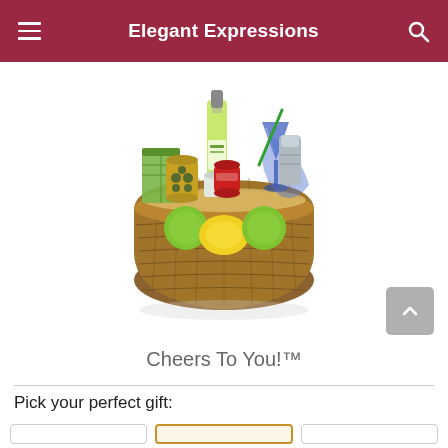Elegant Expressions
[Figure (photo): A wicker gift basket filled with limes, a lemon, a bottle of lime juice, cocktail accessories including a shaker and blue martini glasses, a jar of olives, and other bar items arranged in a wicker basket.]
Cheers To You!™
Pick your perfect gift: